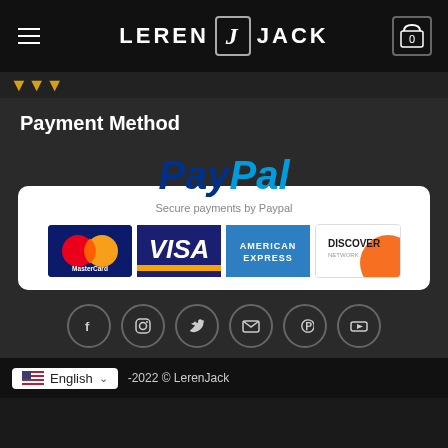LEREN J JACK
[Figure (logo): LerenJack website header with hamburger menu, logo, and cart icon showing 0]
Payment Method
[Figure (infographic): PayPal payment widget with MasterCard, VISA, American Express, and Discover Network card logos. Text: Secure payments by Paypal]
[Figure (infographic): Social media icons row: Facebook, Instagram, Twitter, Email, Pinterest, YouTube]
-2022 © LerenJack  English